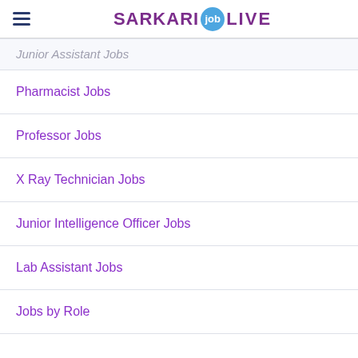SARKARI job LIVE
Junior Assistant Jobs
Pharmacist Jobs
Professor Jobs
X Ray Technician Jobs
Junior Intelligence Officer Jobs
Lab Assistant Jobs
Jobs by Role